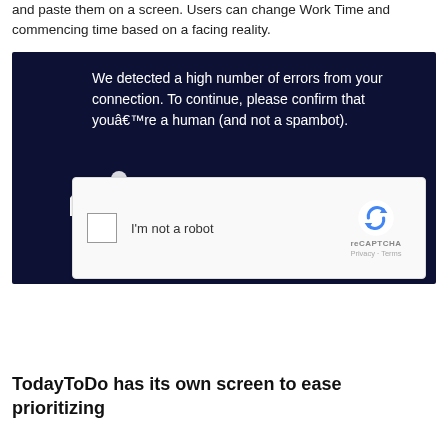and paste them on a screen. Users can change Work Time and commencing time based on a facing reality.
[Figure (screenshot): Screenshot of a dark navy blue CAPTCHA challenge page showing the message 'We detected a high number of errors from your connection. To continue, please confirm that youâ€™re a human (and not a spambot).' with a reCAPTCHA checkbox widget below saying 'I'm not a robot' and the reCAPTCHA logo, Privacy and Terms links.]
TodayToDo has its own screen to ease prioritizing